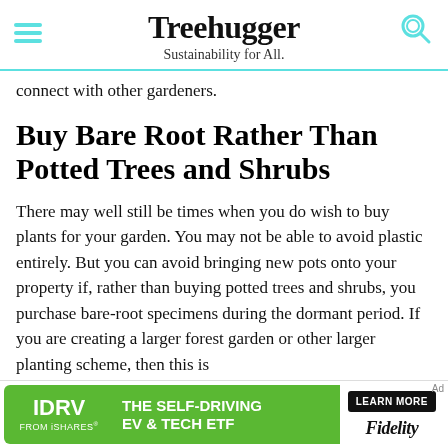Treehugger — Sustainability for All.
connect with other gardeners.
Buy Bare Root Rather Than Potted Trees and Shrubs
There may well still be times when you do wish to buy plants for your garden. You may not be able to avoid plastic entirely. But you can avoid bringing new pots onto your property if, rather than buying potted trees and shrubs, you purchase bare-root specimens during the dormant period. If you are creating a larger forest garden or other larger planting scheme, then this is
[Figure (other): Advertisement banner for IDRV from iShares - The Self-Driving EV & Tech ETF by Fidelity with Learn More button]